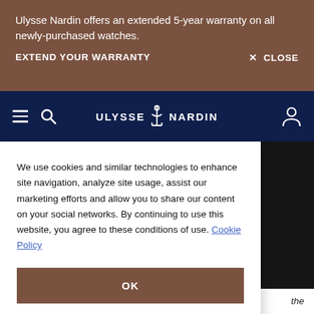Ulysse Nardin offers an extended 5-year warranty on all newly-purchased watches.
EXTEND YOUR WARRANTY
× CLOSE
[Figure (logo): Ulysse Nardin logo with anchor icon on dark navy navigation bar, with hamburger menu and search icons on left, user icon on right]
We use cookies and similar technologies to enhance site navigation, analyze site usage, assist our marketing efforts and allow you to share our content on your social networks. By continuing to use this website, you agree to these conditions of use. Cookie Policy
OK
Cookies Settings
The case of each Ulysse Nardin
the